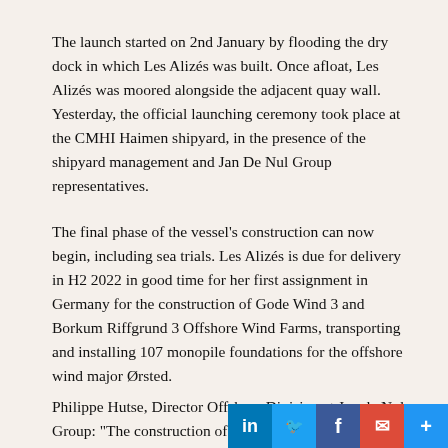The launch started on 2nd January by flooding the dry dock in which Les Alizés was built. Once afloat, Les Alizés was moored alongside the adjacent quay wall. Yesterday, the official launching ceremony took place at the CMHI Haimen shipyard, in the presence of the shipyard management and Jan De Nul Group representatives.
The final phase of the vessel's construction can now begin, including sea trials. Les Alizés is due for delivery in H2 2022 in good time for her first assignment in Germany for the construction of Gode Wind 3 and Borkum Riffgrund 3 Offshore Wind Farms, transporting and installing 107 monopile foundations for the offshore wind major Ørsted.
Philippe Hutse, Director Offshore Division at Jan de Nul Group: "The construction of our offshore floating